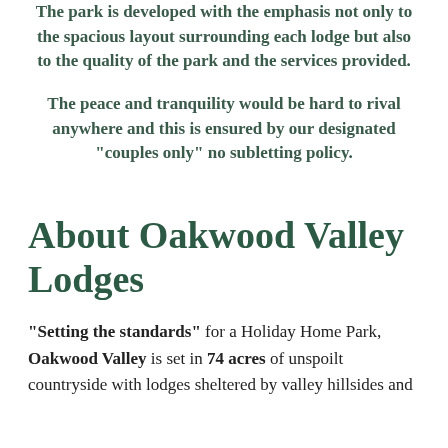The park is developed with the emphasis not only to the spacious layout surrounding each lodge but also to the quality of the park and the services provided.
The peace and tranquility would be hard to rival anywhere and this is ensured by our designated "couples only" no subletting policy.
About Oakwood Valley Lodges
"Setting the standards" for a Holiday Home Park, Oakwood Valley is set in 74 acres of unspoilt countryside with lodges sheltered by valley hillsides and